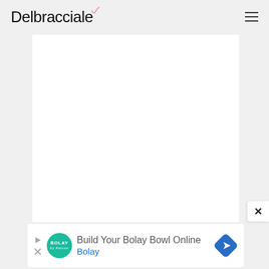Delbracciale
[Figure (other): White rectangular content area with light gray background - main page content placeholder]
[Figure (other): Advertisement: Build Your Bolay Bowl Online - Bolay restaurant ad with teal logo circle and blue arrow diamond icon]